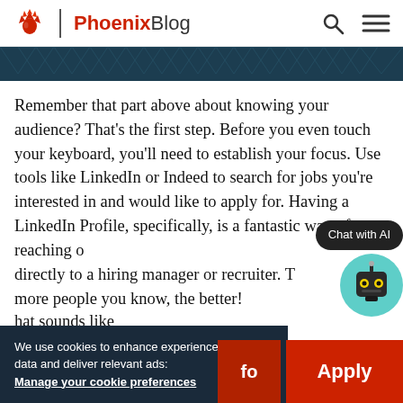PhoenixBlog
[Figure (illustration): Dark teal decorative banner with geometric pattern]
Remember that part above about knowing your audience? That's the first step. Before you even touch your keyboard, you'll need to establish your focus. Use tools like LinkedIn or Indeed to search for jobs you're interested in and would like to apply for. Having a LinkedIn Profile, specifically, is a fantastic way of reaching out directly to a hiring manager or recruiter. The more people you know, the better!
[Figure (illustration): Chat with AI robot chatbot bubble in bottom right]
hat sounds like
We use cookies to enhance experience, analyze data and deliver relevant ads: Manage your cookie preferences